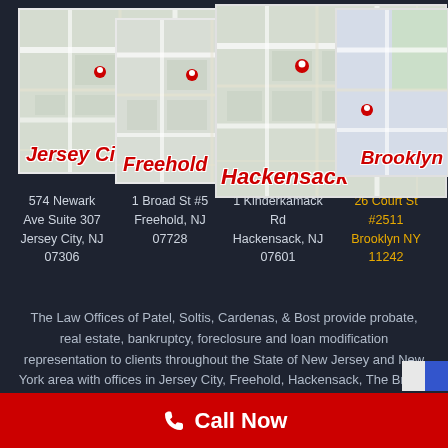[Figure (map): Four overlapping Google Maps thumbnails showing office locations: Jersey City, Freehold, Hackensack, and Brooklyn, each with a red location pin and city label]
574 Newark Ave Suite 307 Jersey City, NJ 07306
1 Broad St #5 Freehold, NJ 07728
1 Kinderkamack Rd Hackensack, NJ 07601
26 Court St #2511 Brooklyn NY 11242
The Law Offices of Patel, Soltis, Cardenas, & Bost provide probate, real estate, bankruptcy, foreclosure and loan modification representation to clients throughout the State of New Jersey and New York area with offices in Jersey City, Freehold, Hackensack, The Bronx, and Brooklyn. This website is a Legal Advertisement.
Call Now